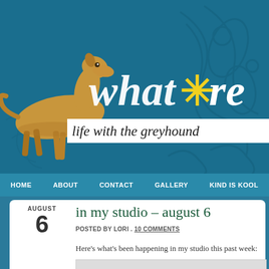[Figure (screenshot): Blog header banner with teal/blue background, decorative scrollwork swirls, golden greyhound dog illustration on left, large italic serif blog title 'what *re' in white with yellow asterisk star, subtitle band 'life with the greyhound' in italic serif on white strip]
HOME  ABOUT  CONTACT  GALLERY  KIND IS KOOL
in my studio – august 6
AUGUST 6  POSTED BY LORI . 10 COMMENTS
Here's what's been happening in my studio this past week: